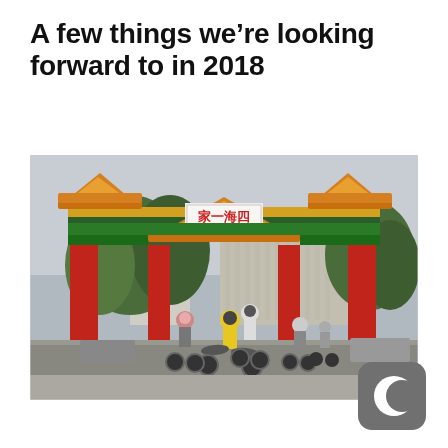A few things we're looking forward to in 2018
[Figure (photo): Cyclists riding through a traditional Chinese gate (paifang) with red pillars and ornate decorative roof in green/orange/gold. A white rectangular sign with Chinese characters is visible at the top center. Trees and a multi-story building visible in the background. Multiple cyclists in the foreground wearing helmets and bright yellow jackets.]
[Figure (logo): Dark gray rounded-square icon with a white crescent moon symbol (Pocket app logo)]